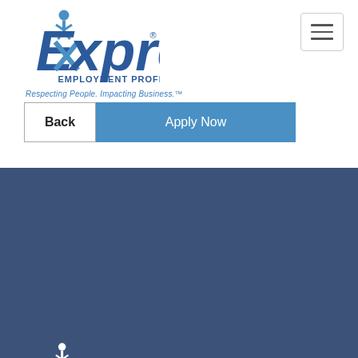[Figure (logo): Express Employment Professionals logo (blue) in top-left of page header]
[Figure (screenshot): Hamburger menu icon (three horizontal lines) in a bordered box, top right]
Respecting People. Impacting Business.™
[Figure (screenshot): Back button (outlined) and Apply Now button (blue) side by side]
[Figure (logo): Express Employment Professionals logo (white) in footer]
Respecting People. Impacting Business.™
[Figure (infographic): Social media icons: Facebook, Twitter, LinkedIn, YouTube — white circles on dark blue background]
Search Jobs
Submit an Application
Find an Express Location
Job Seekers